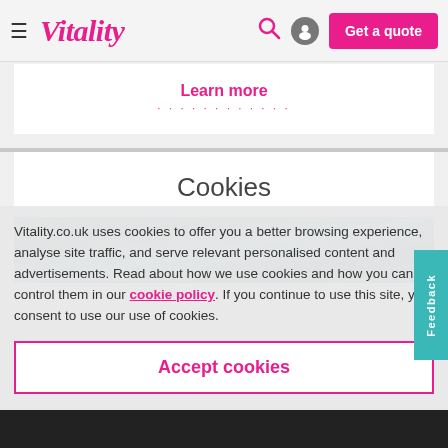Vitality — Get a quote
Learn more
Cookies
[Figure (photo): Ocean/water surface photo with blue-green waves, used as a decorative banner for the Cookies page.]
Vitality.co.uk uses cookies to offer you a better browsing experience, analyse site traffic, and serve relevant personalised content and advertisements. Read about how we use cookies and how you can control them in our cookie policy. If you continue to use this site, you consent to use our use of cookies.
Accept cookies